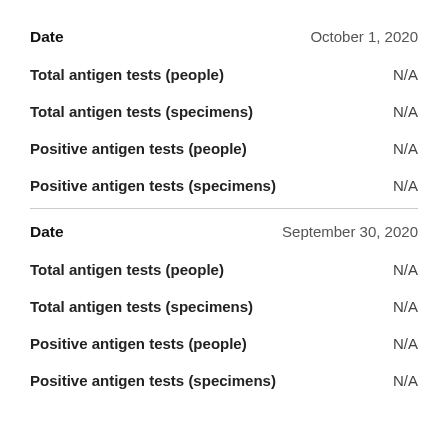Date    October 1, 2020
Total antigen tests (people)    N/A
Total antigen tests (specimens)    N/A
Positive antigen tests (people)    N/A
Positive antigen tests (specimens)    N/A
Date    September 30, 2020
Total antigen tests (people)    N/A
Total antigen tests (specimens)    N/A
Positive antigen tests (people)    N/A
Positive antigen tests (specimens)    N/A